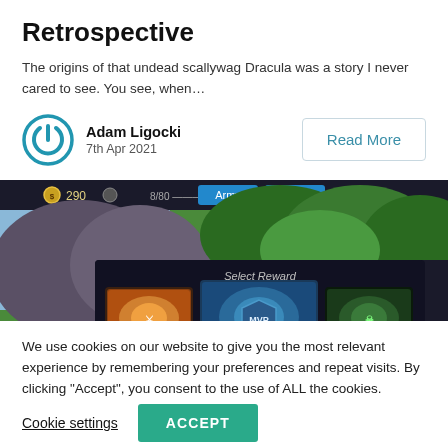Retrospective
The origins of that undead scallywag Dracula was a story I never cared to see. You see, when…
Adam Ligocki
7th Apr 2021
Read More
[Figure (screenshot): Game screenshot showing a strategy/card game interface with 'Army' and 'Store' tabs, a 'Select Reward' popup with three card choices against a fantasy landscape background]
We use cookies on our website to give you the most relevant experience by remembering your preferences and repeat visits. By clicking "Accept", you consent to the use of ALL the cookies.
Cookie settings
ACCEPT